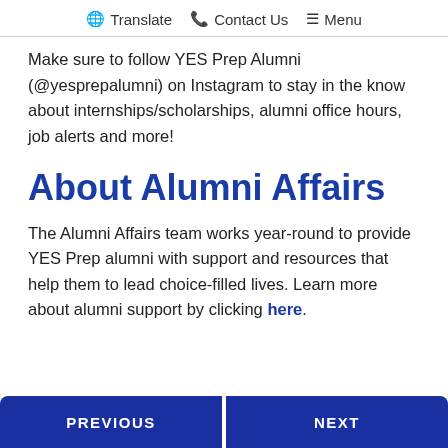🌐 Translate 📞 Contact Us ☰ Menu
Make sure to follow YES Prep Alumni (@yesprepalumni) on Instagram to stay in the know about internships/scholarships, alumni office hours, job alerts and more!
About Alumni Affairs
The Alumni Affairs team works year-round to provide YES Prep alumni with support and resources that help them to lead choice-filled lives. Learn more about alumni support by clicking here.
PREVIOUS  NEXT